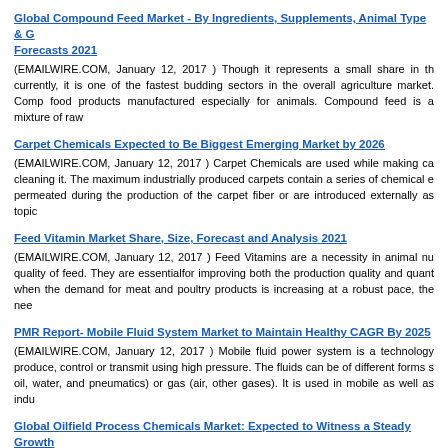Global Compound Feed Market - By Ingredients, Supplements, Animal Type & G Forecasts 2021
(EMAILWIRE.COM, January 12, 2017 ) Though it represents a small share in th currently, it is one of the fastest budding sectors in the overall agriculture market. Comp food products manufactured especially for animals. Compound feed is a mixture of raw
Carpet Chemicals Expected to Be Biggest Emerging Market by 2026
(EMAILWIRE.COM, January 12, 2017 ) Carpet Chemicals are used while making ca cleaning it. The maximum industrially produced carpets contain a series of chemical e permeated during the production of the carpet fiber or are introduced externally as topic
Feed Vitamin Market Share, Size, Forecast and Analysis 2021
(EMAILWIRE.COM, January 12, 2017 ) Feed Vitamins are a necessity in animal nu quality of feed. They are essentialfor improving both the production quality and quant when the demand for meat and poultry products is increasing at a robust pace, the nee
PMR Report- Mobile Fluid System Market to Maintain Healthy CAGR By 2025
(EMAILWIRE.COM, January 12, 2017 ) Mobile fluid power system is a technology produce, control or transmit using high pressure. The fluids can be of different forms s oil, water, and pneumatics) or gas (air, other gases). It is used in mobile as well as indu
Global Oilfield Process Chemicals Market: Expected to Witness a Steady Growth
(EMAILWIRE.COM, January 12, 2017 ) Oilfield process chemicals are used in ex extraction stages such as surfactant flooding and caustic flooding at oil and gas re Oilfield process chemicals are used in separating gas from oil or separating oil from ga